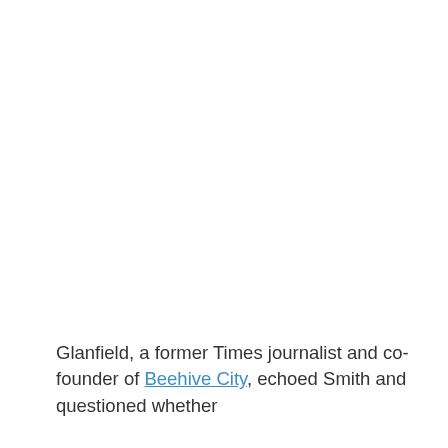Glanfield, a former Times journalist and co-founder of Beehive City, echoed Smith and questioned whether